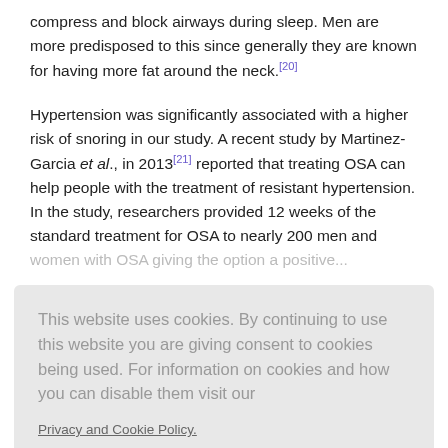compress and block airways during sleep. Men are more predisposed to this since generally they are known for having more fat around the neck.[20]
Hypertension was significantly associated with a higher risk of snoring in our study. A recent study by Martinez-Garcia et al., in 2013[21] reported that treating OSA can help people with the treatment of resistant hypertension. In the study, researchers provided 12 weeks of the standard treatment for OSA to nearly 200 men and women with OSA giving the option a positive...
This website uses cookies. By continuing to use this website you are giving consent to cookies being used. For information on cookies and how you can disable them visit our
Privacy and Cookie Policy.
AGREE & PROCEED
significantly considered to be the lowest and the highest risk, respectively. This result is biased by the age factor...